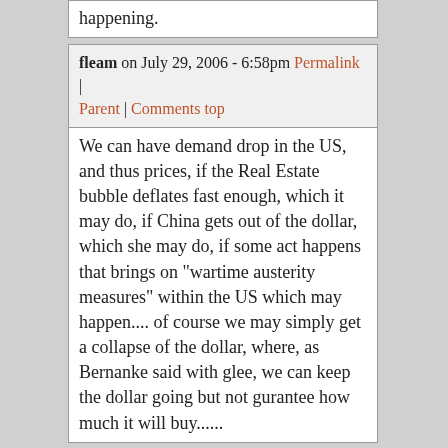happening.
fleam on July 29, 2006 - 6:58pm Permalink | Parent | Comments top
We can have demand drop in the US, and thus prices, if the Real Estate bubble deflates fast enough, which it may do, if China gets out of the dollar, which she may do, if some act happens that brings on "wartime austerity measures" within the US which may happen.... of course we may simply get a collapse of the dollar, where, as Bernanke said with glee, we can keep the dollar going but not gurantee how much it will buy......